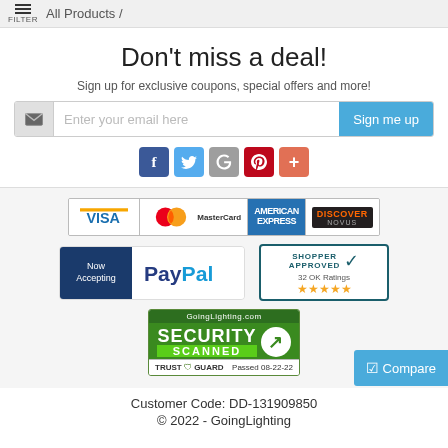FILTER / All Products /
Don't miss a deal!
Sign up for exclusive coupons, special offers and more!
[Figure (screenshot): Email signup form with envelope icon, placeholder text 'Enter your email here', and a blue 'Sign me up' button]
[Figure (infographic): Row of social media icons: Facebook (blue), Twitter (light blue), Google (red), Pinterest (dark red), and a plus icon]
[Figure (infographic): Payment cards: VISA, MasterCard, American Express, Discover]
[Figure (infographic): Now Accepting PayPal badge and Shopper Approved badge with 32 OK Ratings and 5 stars]
[Figure (infographic): GoingLighting.com Security Scanned Trust Guard badge, passed 08-22-22]
[Figure (screenshot): Blue Compare button with checkbox icon in bottom right]
Customer Code: DD-131909850
© 2022 - GoingLighting